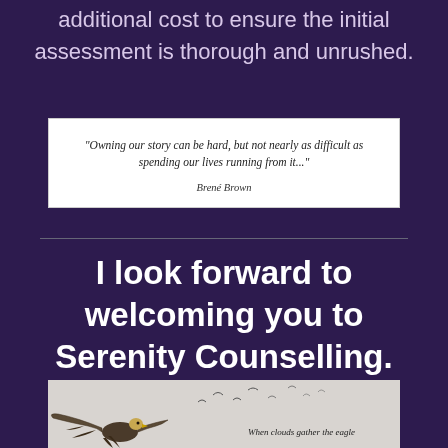additional cost to ensure the initial assessment is thorough and unrushed.
"Owning our story can be hard, but not nearly as difficult as spending our lives running from it..."

Brené Brown
I look forward to welcoming you to Serenity Counselling.
[Figure (photo): Black and white photo of an eagle with wings spread in flight, with birds in the background sky. Handwritten text in the lower right reads 'When clouds gather the eagle']